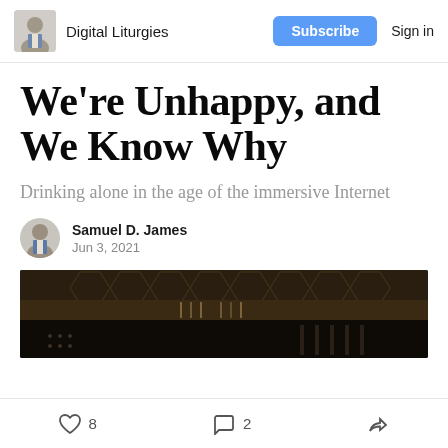Digital Liturgies | Subscribe | Sign in
We're Unhappy, and We Know Why
Drinking alone in the age of the immersive Internet
Samuel D. James
Jun 3, 2021
[Figure (photo): Dark interior architectural photo showing ornate ceiling and bar or interior detail]
8 likes | 2 comments | share